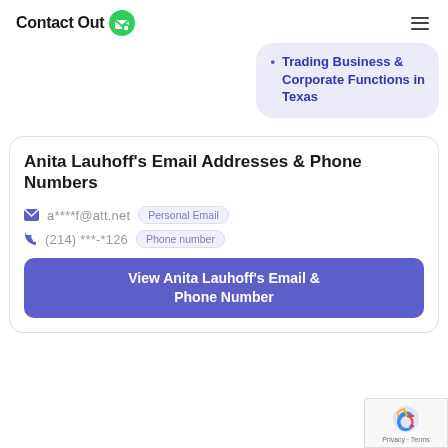ContactOut
Trading Business & Corporate Functions in Texas
Anita Lauhoff's Email Addresses & Phone Numbers
a****f@att.net  Personal Email
(214) ***-*126  Phone number
View Anita Lauhoff's Email & Phone Number